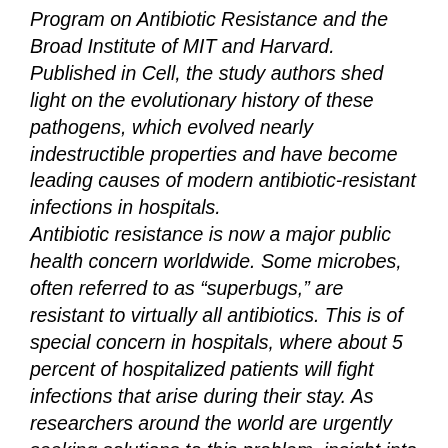Program on Antibiotic Resistance and the Broad Institute of MIT and Harvard. Published in Cell, the study authors shed light on the evolutionary history of these pathogens, which evolved nearly indestructible properties and have become leading causes of modern antibiotic-resistant infections in hospitals.
Antibiotic resistance is now a major public health concern worldwide. Some microbes, often referred to as “superbugs,” are resistant to virtually all antibiotics. This is of special concern in hospitals, where about 5 percent of hospitalized patients will fight infections that arise during their stay. As researchers around the world are urgently seeking solutions to this problem, insight into the origin and evolution of antibiotic resistance will help inform their search.
“By analyzing the genomes and behaviors of today’s